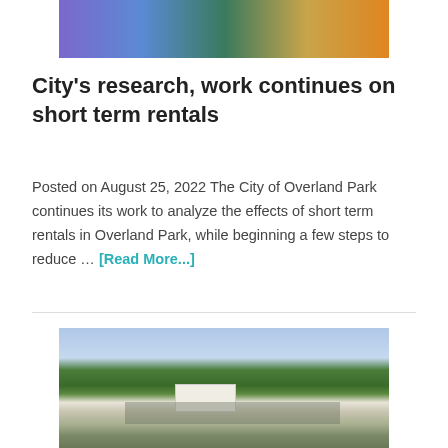[Figure (photo): Top portion of an outdoor scene showing seating area with chairs and bicycles, colorful evening lighting]
City's research, work continues on short term rentals
Posted on August 25, 2022 The City of Overland Park continues its work to analyze the effects of short term rentals in Overland Park, while beginning a few steps to reduce … [Read More...]
[Figure (photo): Aerial view of a white building (Stara Hill or similar) surrounded by green trees and gardens, with a road and greenhouse structures visible]